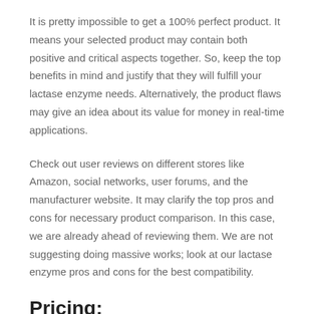It is pretty impossible to get a 100% perfect product. It means your selected product may contain both positive and critical aspects together. So, keep the top benefits in mind and justify that they will fulfill your lactase enzyme needs. Alternatively, the product flaws may give an idea about its value for money in real-time applications.
Check out user reviews on different stores like Amazon, social networks, user forums, and the manufacturer website. It may clarify the top pros and cons for necessary product comparison. In this case, we are already ahead of reviewing them. We are not suggesting doing massive works; look at our lactase enzyme pros and cons for the best compatibility.
Pricing:
Price can control the interest of a user or buyer to buy the respective product. It can determine how many features and